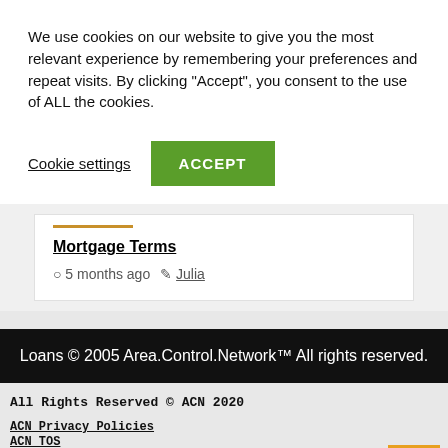We use cookies on our website to give you the most relevant experience by remembering your preferences and repeat visits. By clicking “Accept”, you consent to the use of ALL the cookies.
Cookie settings  ACCEPT
Mortgage Terms
5 months ago   Julia
Loans © 2005 Area.Control.Network™ All rights reserved.
All Rights Reserved © ACN 2020
ACN Privacy Policies
ACN TOS
Area Control Network (ACN)
Area Control Network
Area Control Network Center